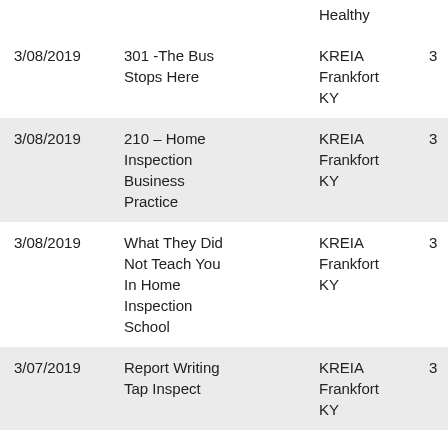| Date | Course | Location | CE |
| --- | --- | --- | --- |
|  | Healthy |  |  |
| 3/08/2019 | 301 -The Bus Stops Here | KREIA Frankfort KY | 3 |
| 3/08/2019 | 210 – Home Inspection Business Practice | KREIA Frankfort KY | 3 |
| 3/08/2019 | What They Did Not Teach You In Home Inspection School | KREIA Frankfort KY | 3 |
| 3/07/2019 | Report Writing Tap Inspect | KREIA Frankfort KY | 3 |